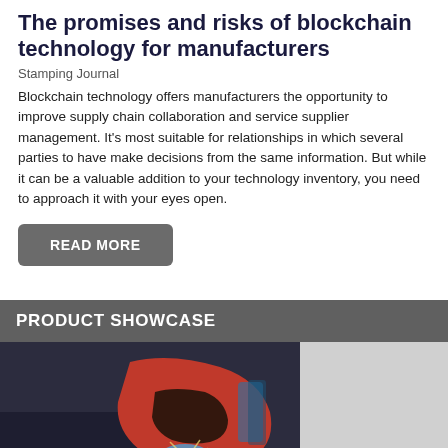The promises and risks of blockchain technology for manufacturers
Stamping Journal
Blockchain technology offers manufacturers the opportunity to improve supply chain collaboration and service supplier management. It's most suitable for relationships in which several parties to have make decisions from the same information. But while it can be a valuable addition to your technology inventory, you need to approach it with your eyes open.
READ MORE
PRODUCT SHOWCASE
[Figure (photo): A person wearing a dark jacket using a red welding tool or shield, with a bright blue welding arc visible at the bottom of the equipment]